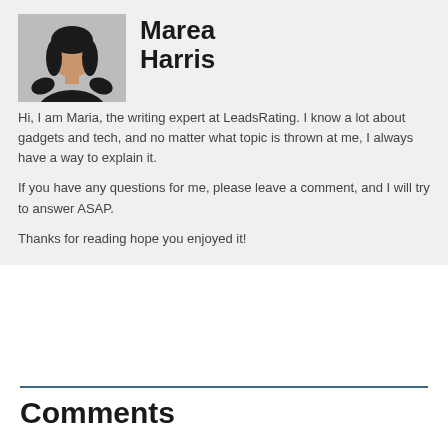[Figure (photo): Author photo of Marea Harris, a woman in a black top with dark hair]
Marea Harris
Hi, I am Maria, the writing expert at LeadsRating. I know a lot about gadgets and tech, and no matter what topic is thrown at me, I always have a way to explain it.

If you have any questions for me, please leave a comment, and I will try to answer ASAP.

Thanks for reading hope you enjoyed it!
Comments